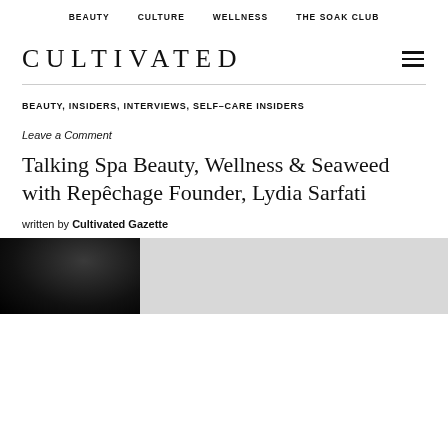BEAUTY   CULTURE   WELLNESS   THE SOAK CLUB
CULTIVATED
BEAUTY, INSIDERS, INTERVIEWS, SELF–CARE INSIDERS
Leave a Comment
Talking Spa Beauty, Wellness & Seaweed with Repêchage Founder, Lydia Sarfati
written by Cultivated Gazette
[Figure (photo): Two people's hair visible at edges with seaweed/plant material on a white plate in the center]